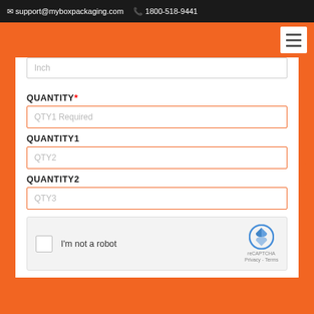✉ support@myboxpackaging.com  📞 1800-518-9441
[Figure (screenshot): Orange navigation header bar with white hamburger menu button in top right corner]
Inch (input field placeholder)
QUANTITY* — QTY1 Required (input field placeholder)
QUANTITY1 — QTY2 (input field placeholder)
QUANTITY2 — QTY3 (input field placeholder)
[Figure (screenshot): reCAPTCHA widget with checkbox, 'I'm not a robot' label, and reCAPTCHA logo with Privacy - Terms text]